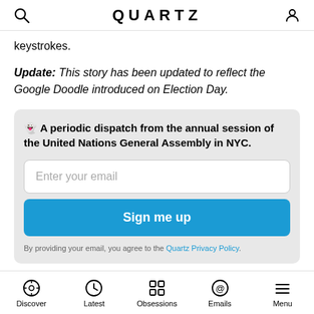QUARTZ
keystrokes.
Update: This story has been updated to reflect the Google Doodle introduced on Election Day.
👻 A periodic dispatch from the annual session of the United Nations General Assembly in NYC.
Enter your email
Sign me up
By providing your email, you agree to the Quartz Privacy Policy.
Discover  Latest  Obsessions  Emails  Menu